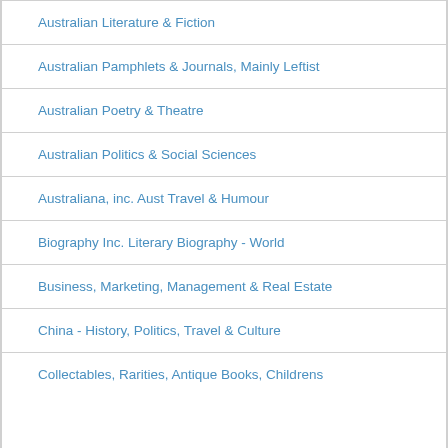Australian Literature & Fiction
Australian Pamphlets & Journals, Mainly Leftist
Australian Poetry & Theatre
Australian Politics & Social Sciences
Australiana, inc. Aust Travel & Humour
Biography Inc. Literary Biography - World
Business, Marketing, Management & Real Estate
China - History, Politics, Travel & Culture
Collectables, Rarities, Antique Books, Childrens